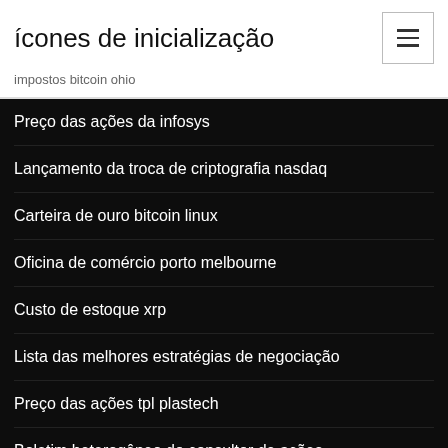ícones de inicialização
impostos bitcoin ohio
Preço das ações da infosys
Lançamento da troca de criptografia nasdaq
Carteira de ouro bitcoin linux
Oficina de comércio porto melbourne
Custo de estoque xrp
Lista das melhores estratégias de negociação
Preço das ações tpl plastech
Boletim heterogêneo do consultor de ações
Cotação da bolsa pfeiffer
Comentários sobre opções binárias robot auto trading software